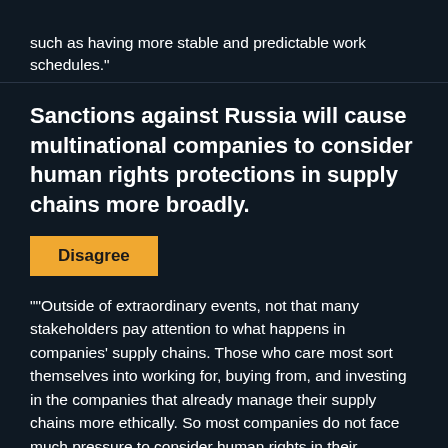such as having more stable and predictable work schedules."
Sanctions against Russia will cause multinational companies to consider human rights protections in supply chains more broadly.
Disagree
""Outside of extraordinary events, not that many stakeholders pay attention to what happens in companies' supply chains. Those who care most sort themselves into working for, buying from, and investing in the companies that already manage their supply chains more ethically. So most companies do not face much pressure to consider human rights in their operations. But there's also an information gap. Customers, investors, and all but the most senior employees usually have little insight into firms' supply chains to inform their choices and when they might lobby